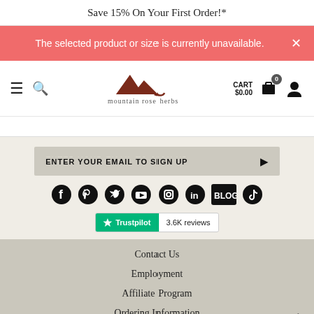Save 15% On Your First Order!*
The selected product or size is currently unavailable.
[Figure (logo): Mountain Rose Herbs logo with mountain peak icon and text 'mountain rose herbs']
ENTER YOUR EMAIL TO SIGN UP
[Figure (infographic): Social media icons: Facebook, Pinterest, Twitter, YouTube, Instagram, LinkedIn, Blog, TikTok]
[Figure (logo): Trustpilot badge showing 3.6K reviews]
Contact Us
Employment
Affiliate Program
Ordering Information